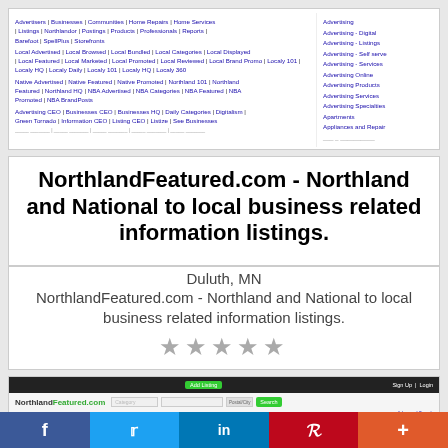[Figure (screenshot): Top section of a business directory listing page showing navigation links for Advertisers, Businesses, Communities, Home Repairs, Home Services, Listings, Northlandor, Postings, Products, Professionals, Reports, Barefoot, SpellPlus, Storefronts and sub-links for Local Advertised, Local Browsed, Local Bundled, Local Categories, Local Displayed, Local Featured, Local Marketed, Local Promoted, Local Reviewed, Local Brand Promo, Localy 101, Localy HQ, Localy Daily, Localy 101, Localy HQ, Localy 360, Native Advertised, Native Featured, Native Promoted, Northland 101, Northland Featured, Northland HQ, NBA Advertised, NBA Categories, NBA Featured, NBA Promoted, NBA BrandPosts, Advertising CEO, Businesses CEO, Businesses HQ, Daily Categories, Digitalism, Green Tornado, Information CEO, Listing CEO, Listize, See Businesses; and a right sidebar showing category links: Advertising, Advertising Digital, Advertising Listings, Advertising Self serve, Advertising Services, Advertising Online, Advertising Products, Advertising Services, Advertising Specialties, Apartments, Appliances and Repair]
NorthlandFeatured.com - Northland and National to local business related information listings.
Duluth, MN
NorthlandFeatured.com - Northland and National to local business related information listings.
★★★★★
[Figure (screenshot): Screenshot of NorthlandFeatured.com website showing dark header with Add Listing button and Sign Up/Login links, logo with Northland in black and Featured in green, search category and keyword inputs with Search button, green navigation bar with Home Search Browse Add Listing Coupons Articles links, main content area with text about Localzz Marketplace, Localzz Network, Localzz Media and Localzz brands for digital properties with category listings, and right sidebar Browse Directory with Accounting, Activities, Advertising categories]
f  t  in  P  +